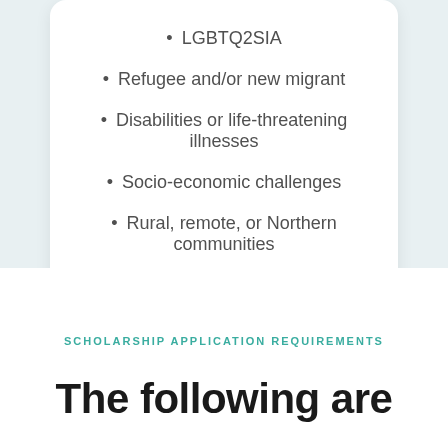LGBTQ2SIA
Refugee and/or new migrant
Disabilities or life-threatening illnesses
Socio-economic challenges
Rural, remote, or Northern communities
SCHOLARSHIP APPLICATION REQUIREMENTS
The following are